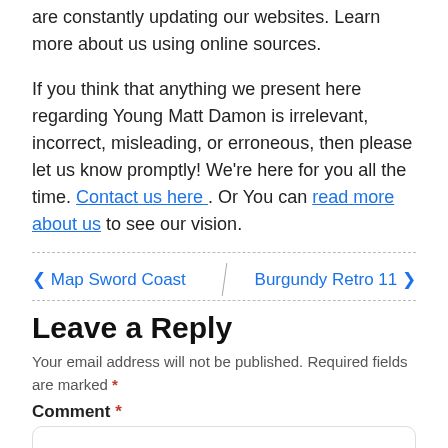are constantly updating our websites. Learn more about us using online sources.
If you think that anything we present here regarding Young Matt Damon is irrelevant, incorrect, misleading, or erroneous, then please let us know promptly! We're here for you all the time. Contact us here . Or You can read more about us to see our vision.
< Map Sword Coast   Burgundy Retro 11 >
Leave a Reply
Your email address will not be published. Required fields are marked *
Comment *